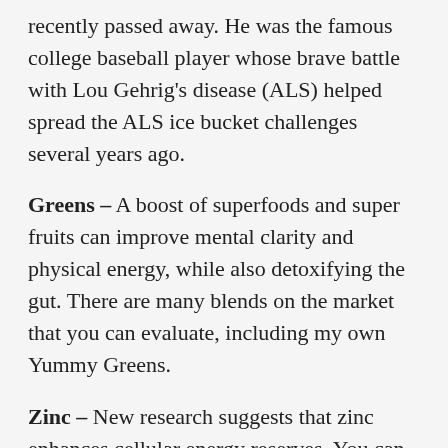recently passed away. He was the famous college baseball player whose brave battle with Lou Gehrig's disease (ALS) helped spread the ALS ice bucket challenges several years ago.
Greens – A boost of superfoods and super fruits can improve mental clarity and physical energy, while also detoxifying the gut. There are many blends on the market that you can evaluate, including my own Yummy Greens.
Zinc – New research suggests that zinc enhances cellular energy reserves. You can read about that HERE. Although zinc is important in terms of its antioxidant power, it is now thought to restore a pathway that involves energy production. More specifically, zinc supplementation may be conducive to mitochondrial energy transport. As an aside, zinc is important for